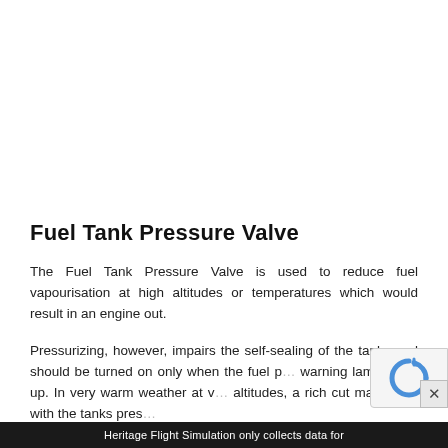Fuel Tank Pressure Valve
The Fuel Tank Pressure Valve is used to reduce fuel vapourisation at high altitudes or temperatures which would result in an engine out.
Pressurizing, however, impairs the self-sealing of the tanks and should be turned on only when the fuel p… warning lamp lights up. In very warm weather at v… altitudes, a rich cut may occur with the tanks pres…
Heritage Flight Simulation only collects data for